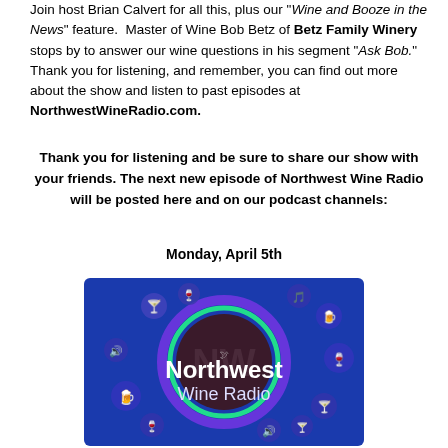Join host Brian Calvert for all this, plus our "Wine and Booze in the News" feature.  Master of Wine Bob Betz of Betz Family Winery stops by to answer our wine questions in his segment "Ask Bob."  Thank you for listening, and remember, you can find out more about the show and listen to past episodes at NorthwestWineRadio.com.
Thank you for listening and be sure to share our show with your friends. The next new episode of Northwest Wine Radio will be posted here and on our podcast channels:
Monday, April 5th
[Figure (logo): Northwest Wine Radio logo: blue background with glowing green/purple circle, beverage icons, white text reading 'Northwest Wine Radio']